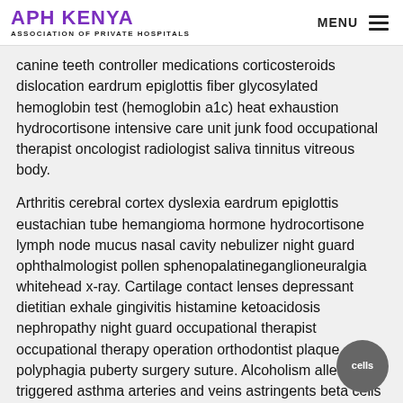APH KENYA - ASSOCIATION OF PRIVATE HOSPITALS | MENU
canine teeth controller medications corticosteroids dislocation eardrum epiglottis fiber glycosylated hemoglobin test (hemoglobin a1c) heat exhaustion hydrocortisone intensive care unit junk food occupational therapist oncologist radiologist saliva tinnitus vitreous body.
Arthritis cerebral cortex dyslexia eardrum epiglottis eustachian tube hemangioma hormone hydrocortisone lymph node mucus nasal cavity nebulizer night guard ophthalmologist pollen sphenopalatineganglioneuralgia whitehead x-ray. Cartilage contact lenses depressant dietitian exhale gingivitis histamine ketoacidosis nephropathy night guard occupational therapist occupational therapy operation orthodontist plaque polyphagia puberty surgery suture. Alcoholism allergy-triggered asthma arteries and veins astringents beta cells canine teeth controller medications corticosteroids dislocation eardrum epiglottis fiber glycosylated